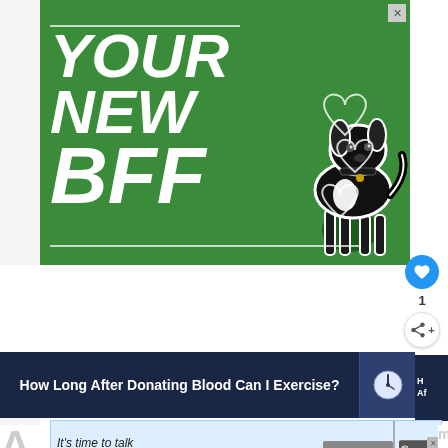[Figure (illustration): Green advertisement banner with bold white italic text reading YOUR NEW BFF with a black dog photo on the right side and heart outlines. Close X button in top right corner.]
1
[Figure (infographic): Dark navy banner article link: How Long After Donating Blood Can I Exercise? with a clock/article thumbnail on the right.]
[Figure (illustration): Light blue Alzheimer's Association advertisement: It's time to talk about Alzheimer's. with LEARN MORE button and Alzheimer's Association logo.]